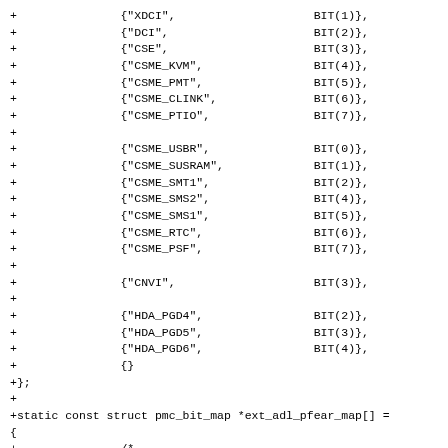+		{"XDCI",				BIT(1)},
+		{"DCI",				BIT(2)},
+		{"CSE",				BIT(3)},
+		{"CSME_KVM",				BIT(4)},
+		{"CSME_PMT",				BIT(5)},
+		{"CSME_CLINK",				BIT(6)},
+		{"CSME_PTIO",				BIT(7)},
+
+		{"CSME_USBR",				BIT(0)},
+		{"CSME_SUSRAM",			BIT(1)},
+		{"CSME_SMT1",				BIT(2)},
+		{"CSME_SMS2",				BIT(4)},
+		{"CSME_SMS1",				BIT(5)},
+		{"CSME_RTC",				BIT(6)},
+		{"CSME_PSF",				BIT(7)},
+
+		{"CNVI",				BIT(3)},
+
+		{"HDA_PGD4",				BIT(2)},
+		{"HDA_PGD5",				BIT(3)},
+		{"HDA_PGD6",				BIT(4)},
+		{}
+};
+
+static const struct pmc_bit_map *ext_adl_pfear_map[] =
{
+		/*
+		 * Check intel_pmc_core_ids[] users of cnp_reg_map for
+		 * a list of core SoCs using this.